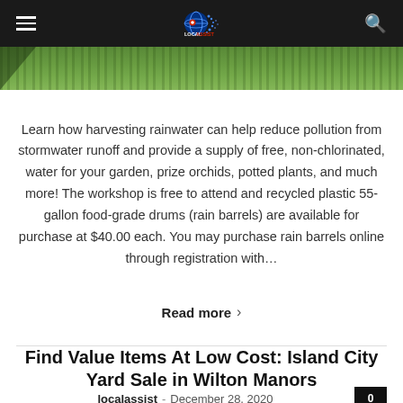LocalAssist
[Figure (photo): Grass lawn close-up photo strip]
Learn how harvesting rainwater can help reduce pollution from stormwater runoff and provide a supply of free, non-chlorinated, water for your garden, prize orchids, potted plants, and much more! The workshop is free to attend and recycled plastic 55-gallon food-grade drums (rain barrels) are available for purchase at $40.00 each. You may purchase rain barrels online through registration with…
Read more >
Find Value Items At Low Cost: Island City Yard Sale in Wilton Manors
localassist - December 28, 2020